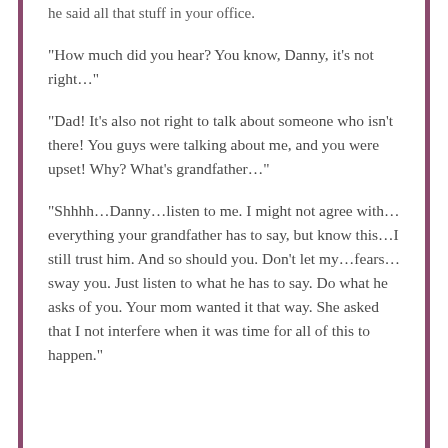he said all that stuff in your office.
“How much did you hear? You know, Danny, it’s not right…”
“Dad! It’s also not right to talk about someone who isn’t there! You guys were talking about me, and you were upset! Why? What’s grandfather…”
“Shhhh…Danny…listen to me. I might not agree with…everything your grandfather has to say, but know this…I still trust him. And so should you. Don’t let my…fears…sway you. Just listen to what he has to say. Do what he asks of you. Your mom wanted it that way. She asked that I not interfere when it was time for all of this to happen.”